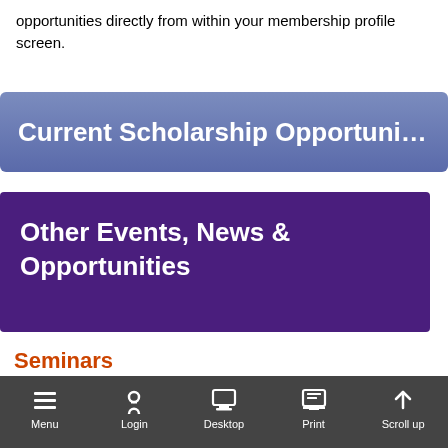opportunities directly from within your membership profile screen.
Current Scholarship Opportuni…
Other Events, News & Opportunities
Seminars
New: What's happened to international students since COVID-19? Work, incomes, & wellbeing indicators in a follow-up survey
8th October 2…
Shaun Wilson & … Building …